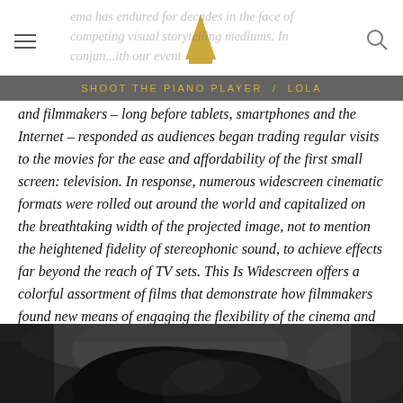SHOOT THE PIANO PLAYER / LOLA
ema has endured for decades in the face of competing visual storytelling mediums. In conjun...ith our event
and filmmakers – long before tablets, smartphones and the Internet – responded as audiences began trading regular visits to the movies for the ease and affordability of the first small screen: television. In response, numerous widescreen cinematic formats were rolled out around the world and capitalized on the breathtaking width of the projected image, not to mention the heightened fidelity of stereophonic sound, to achieve effects far beyond the reach of TV sets. This Is Widescreen offers a colorful assortment of films that demonstrate how filmmakers found new means of engaging the flexibility of the cinema and the key larger-than-life film formats employed over a 15-year period in Hollywood – from the launch of Cinerama in 1952 and the subsequent widescreen boom that included CinemaScope, VistaVision, Todd-AO and others – plus highlights from the first wave of 'Scope filmmaking from around the globe.
[Figure (photo): Black and white photograph showing a person's head/hair from behind or side angle, partially visible at bottom of page]